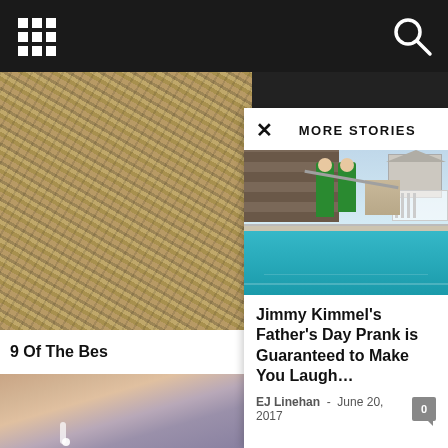MORE STORIES
[Figure (photo): Top bar with grid (9-dot) icon on left and search icon on right, dark background]
[Figure (photo): Background hay/straw texture image on left side]
9 Of The Bes
[Figure (photo): Pool scene: two people in green shirts near a pool with a pool net, backyard setting with house in background]
Jimmy Kimmel's Father's Day Prank is Guaranteed to Make You Laugh…
EJ Linehan - June 20, 2017
[Figure (photo): Close-up of a woman's face with dangling earrings, bottom left background]